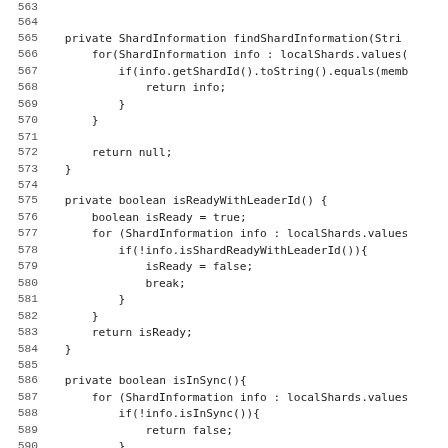[Figure (screenshot): Source code listing showing Java methods: findShardInformation, isReadyWithLeaderId, and isInSync, with line numbers 563-594.]